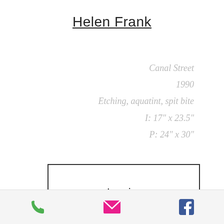Helen Frank
Canal Street
1990
Etching, aquatint, spit bite
I: 17" x 23.5"
P: 24" x 30"
Inquire
[Figure (photo): Partial view of an etching artwork showing dark sketched figures on a warm brown/sepia background]
Phone | Email | Facebook icons